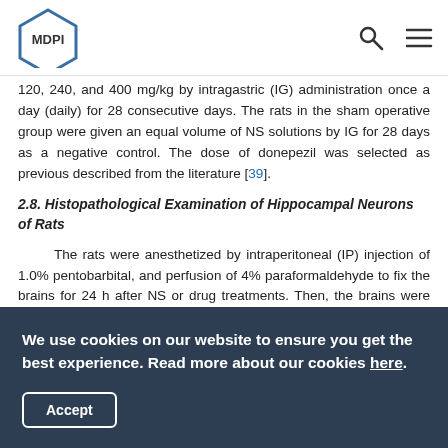MDPI [logo with search and menu icons]
120, 240, and 400 mg/kg by intragastric (IG) administration once a day (daily) for 28 consecutive days. The rats in the sham operative group were given an equal volume of NS solutions by IG for 28 days as a negative control. The dose of donepezil was selected as previous described from the literature [39].
2.8. Histopathological Examination of Hippocampal Neurons of Rats
The rats were anesthetized by intraperitoneal (IP) injection of 1.0% pentobarbital, and perfusion of 4% paraformaldehyde to fix the brains for 24 h after NS or drug treatments. Then, the brains were removed and the brain tissues were weighed, fixed in 10% neutral buffered formalin, dehydrated, and embedded in
We use cookies on our website to ensure you get the best experience. Read more about our cookies here.
Accept